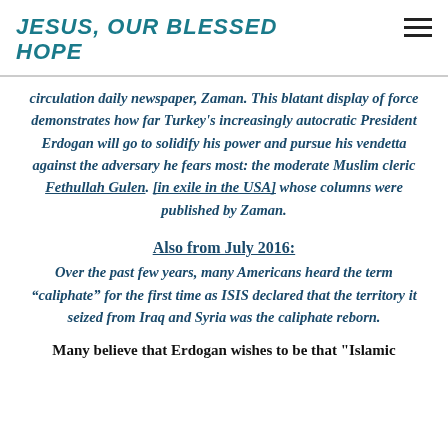JESUS, OUR BLESSED HOPE
circulation daily newspaper, Zaman. This blatant display of force demonstrates how far Turkey's increasingly autocratic President Erdogan will go to solidify his power and pursue his vendetta against the adversary he fears most: the moderate Muslim cleric Fethullah Gulen, [in exile in the USA] whose columns were published by Zaman.
Also from July 2016:
Over the past few years, many Americans heard the term “caliphate” for the first time as ISIS declared that the territory it seized from Iraq and Syria was the caliphate reborn.
Many believe that Erdogan wishes to be that "Islamic